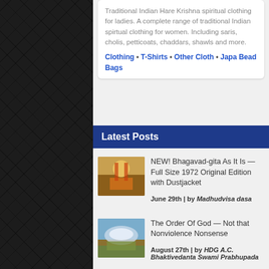Traditional Indian Hare Krishna spiritual clothing for ladies. A complete range of traditional Indian spirtual clothing for women. Including saris, cholis, petticoats, chaddars, shawls and more.
Clothing • T-Shirts • Other Cloth • Japa Bead Bags
Latest Posts
NEW! Bhagavad-gita As It Is — Full Size 1972 Original Edition with Dustjacket
June 29th | by Madhudvisa dasa
The Order Of God — Not that Nonviolence Nonsense
August 27th | by HDG A.C. Bhaktivedanta Swami Prabhupada
A Spiritual Master Should Not Be Accepted As A Matter Of Fashion
August 26th | by HDG A.C. Bhaktivedanta Swami Prabhupada